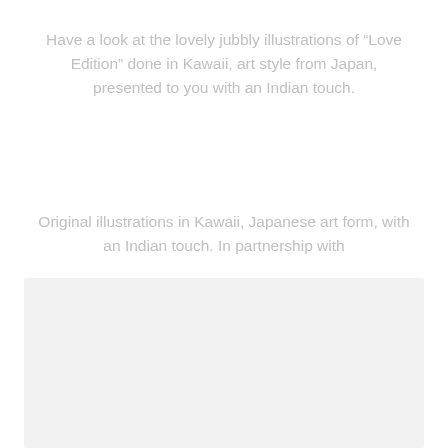Have a look at the lovely jubbly illustrations of “Love Edition” done in Kawaii, art style from Japan, presented to you with an Indian touch.
Original illustrations in Kawaii, Japanese art form, with an Indian touch. In partnership with
Artpreneur Program
[Figure (illustration): Light gray rectangular placeholder image area at the bottom of the page]